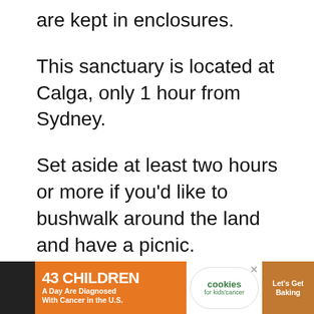are kept in enclosures.
This sanctuary is located at Calga, only 1 hour from Sydney.
Set aside at least two hours or more if you'd like to bushwalk around the land and have a picnic.
You can also stay overnight in a tent or cabin and/or join a nocturnal guided tour.
[Figure (screenshot): Advertisement banner: '43 CHILDREN A Day Are Diagnosed With Cancer in the U.S.' with cookies for kids' cancer logo and 'Let's Get Baking' promotion on dark background.]